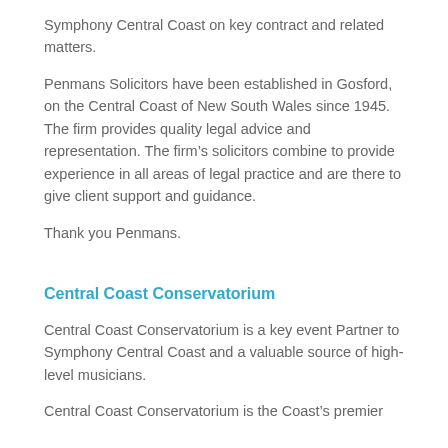Symphony Central Coast on key contract and related matters.
Penmans Solicitors have been established in Gosford, on the Central Coast of New South Wales since 1945. The firm provides quality legal advice and representation. The firm’s solicitors combine to provide experience in all areas of legal practice and are there to give client support and guidance.
Thank you Penmans.
Central Coast Conservatorium
Central Coast Conservatorium is a key event Partner to Symphony Central Coast and a valuable source of high-level musicians.
Central Coast Conservatorium is the Coast’s premier